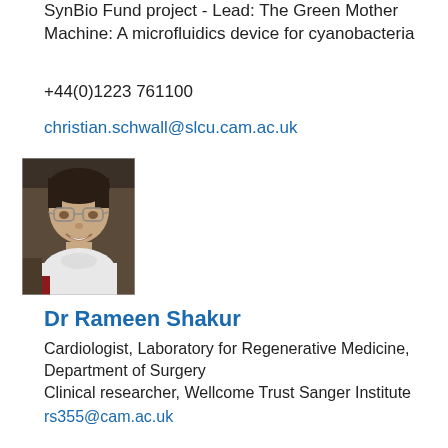SynBio Fund project - Lead: The Green Mother Machine: A microfluidics device for cyanobacteria
+44(0)1223 761100
christian.schwall@slcu.cam.ac.uk
[Figure (photo): Headshot photo of Dr Rameen Shakur, a young man with glasses and a white turtleneck, smiling.]
Dr Rameen Shakur
Cardiologist, Laboratory for Regenerative Medicine, Department of Surgery
Clinical researcher, Wellcome Trust Sanger Institute
rs355@cam.ac.uk